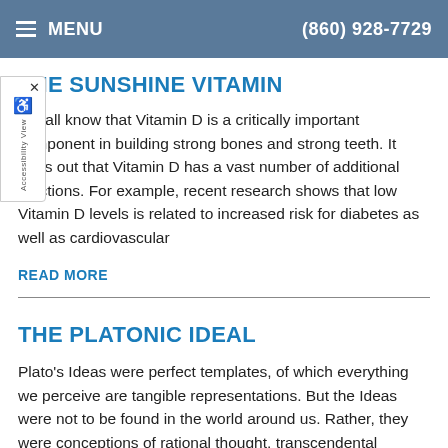MENU   (860) 928-7729
THE SUNSHINE VITAMIN
We all know that Vitamin D is a critically important component in building strong bones and strong teeth. It turns out that Vitamin D has a vast number of additional functions. For example, recent research shows that low Vitamin D levels is related to increased risk for diabetes as well as cardiovascular
READ MORE
THE PLATONIC IDEAL
Plato's Ideas were perfect templates, of which everything we perceive are tangible representations. But the Ideas were not to be found in the world around us. Rather, they were conceptions of rational thought, transcendental